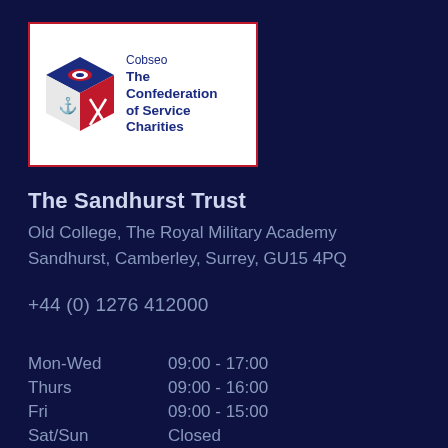[Figure (logo): Cobseo – The Confederation of Service Charities logo with red, white and blue geometric cube icon]
The Sandhurst Trust
Old College, The Royal Military Academy
Sandhurst, Camberley, Surrey, GU15 4PQ
+44 (0) 1276 412000
| Day | Hours |
| --- | --- |
| Mon-Wed | 09:00 - 17:00 |
| Thurs | 09:00 - 16:00 |
| Fri | 09:00 - 15:00 |
| Sat/Sun | Closed |